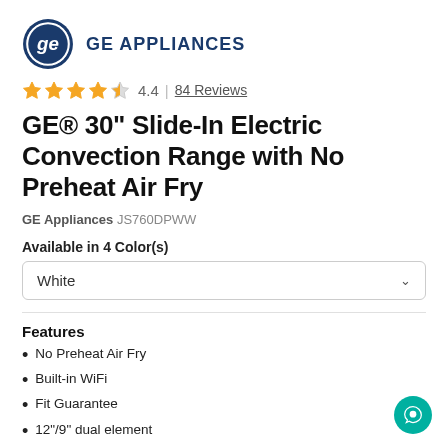[Figure (logo): GE Appliances logo with circular GE monogram and text GE APPLIANCES]
4.4 | 84 Reviews
GE® 30" Slide-In Electric Convection Range with No Preheat Air Fry
GE Appliances JS760DPWW
Available in 4 Color(s)
White
Features
No Preheat Air Fry
Built-in WiFi
Fit Guarantee
12"/9" dual element